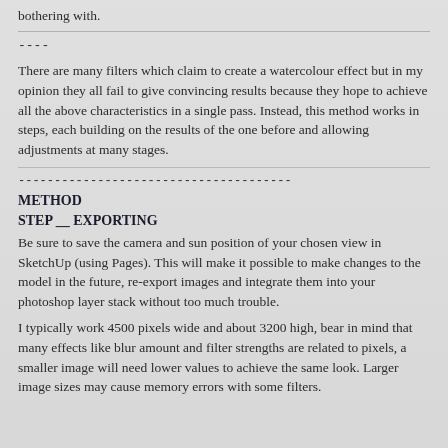bothering with.
----
There are many filters which claim to create a watercolour effect but in my opinion they all fail to give convincing results because they hope to achieve all the above characteristics in a single pass. Instead, this method works in steps, each building on the results of the one before and allowing adjustments at many stages.
--------------------------------------
METHOD
STEP __ EXPORTING
Be sure to save the camera and sun position of your chosen view in SketchUp (using Pages). This will make it possible to make changes to the model in the future, re-export images and integrate them into your photoshop layer stack without too much trouble.
I typically work 4500 pixels wide and about 3200 high, bear in mind that many effects like blur amount and filter strengths are related to pixels, a smaller image will need lower values to achieve the same look. Larger image sizes may cause memory errors with some filters.